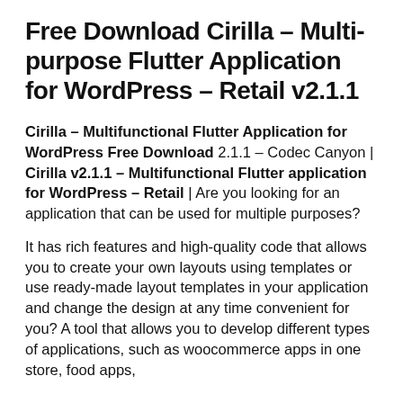Free Download Cirilla – Multi-purpose Flutter Application for WordPress – Retail v2.1.1
Cirilla – Multifunctional Flutter Application for WordPress Free Download 2.1.1 – Codec Canyon | Cirilla v2.1.1 – Multifunctional Flutter application for WordPress – Retail | Are you looking for an application that can be used for multiple purposes?
It has rich features and high-quality code that allows you to create your own layouts using templates or use ready-made layout templates in your application and change the design at any time convenient for you? A tool that allows you to develop different types of applications, such as woocommerce apps in one store, food apps,